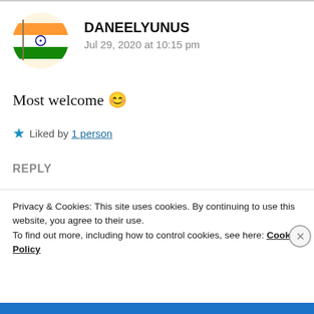[Figure (photo): Circular avatar with Indian flag image]
DANEELYUNUS
Jul 29, 2020 at 10:15 pm
Most welcome 😊
★ Liked by 1 person
REPLY
[Figure (photo): Row of user avatar thumbnails and a blue button]
Privacy & Cookies: This site uses cookies. By continuing to use this website, you agree to their use.
To find out more, including how to control cookies, see here: Cookie Policy
Close and accept